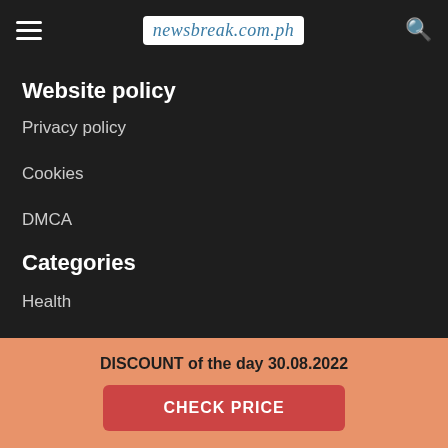newsbreak.com.ph
Website policy
Privacy policy
Cookies
DMCA
Categories
Health
DISCOUNT of the day 30.08.2022
CHECK PRICE